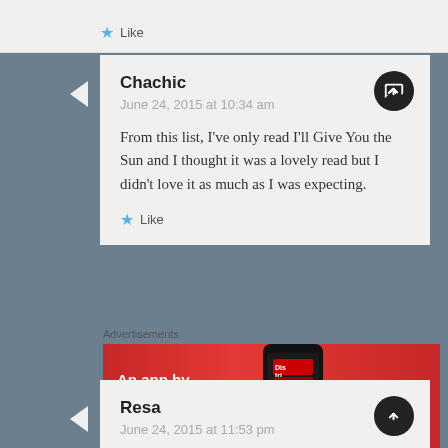Like
Chachic
June 24, 2015 at 10:34 am
From this list, I've only read I'll Give You the Sun and I thought it was a lovely read but I didn't love it as much as I was expecting.
Like
Advertisements
[Figure (photo): Pocket Casts advertisement banner: red background with phone image showing app, text 'An app by listeners, for listeners.' with Pocket Casts logo]
REPORT THIS AD
Resa
June 24, 2015 at 11:53 pm
Great list, I haven't read any of these yet, but a lot of